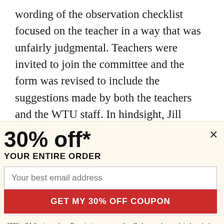wording of the observation checklist focused on the teacher in a way that was unfairly judgmental. Teachers were invited to join the committee and the form was revised to include the suggestions made by both the teachers and the WTU staff. In hindsight, Jill Weiler believes that teachers should have been involved from the beginning. “Our new
30% off*
YOUR ENTIRE ORDER
Your best email address
GET MY 30% OFF COUPON
*30% off full-price orders. By entering your email we’ll also send you related marketing emails. You can unsubscribe at anytime.